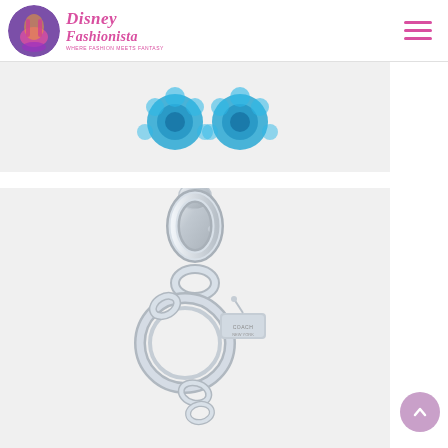[Figure (logo): Disney Fashionista logo with circular icon showing a fashion illustration and script text 'Disney Fashionista' in pink]
[Figure (photo): Close-up partial photo of two small blue floral earrings on a white background]
[Figure (photo): Close-up photo of a silver metal key ring / bag charm hardware consisting of a lobster clasp, chain links, key ring, and a small rectangular Coach-branded tag, on a white/light gray background]